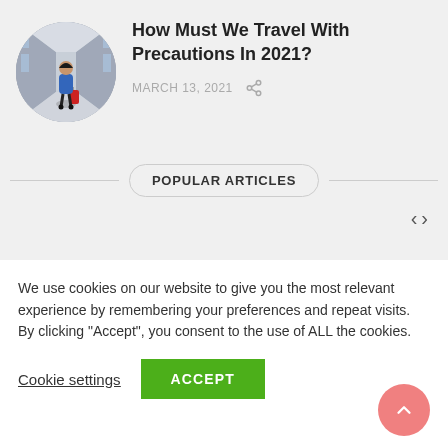[Figure (photo): Circular cropped photo of a woman with a red suitcase walking in an airport corridor]
How Must We Travel With Precautions In 2021?
MARCH 13, 2021
POPULAR ARTICLES
We use cookies on our website to give you the most relevant experience by remembering your preferences and repeat visits. By clicking "Accept", you consent to the use of ALL the cookies.
Cookie settings
ACCEPT